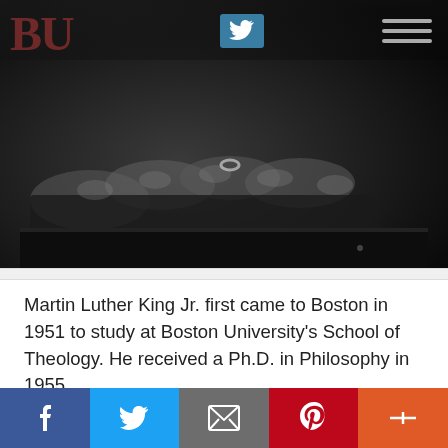[Figure (photo): Black and white close-up photograph of hands holding a book or surface, with social media icons (Twitter bird) and hamburger menu overlaid on the image, plus a partial 'BU' logo watermark in the top-left corner.]
Martin Luther King Jr. first came to Boston in 1951 to study at Boston University's School of Theology. He received a Ph.D. in Philosophy in 1955.
King lived at 397 Massachusetts Avenue with a former classmate from Atlanta's Morehouse College. Their apartment
f  [Twitter]  [Email]  p  +